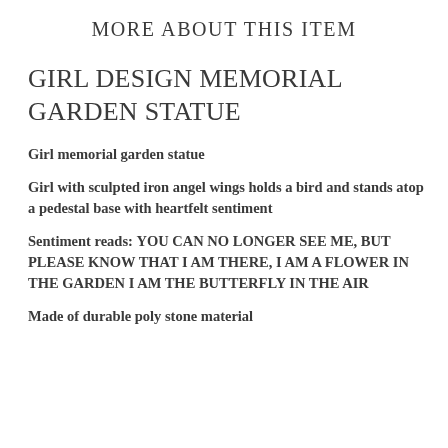MORE ABOUT THIS ITEM
GIRL DESIGN MEMORIAL GARDEN STATUE
Girl memorial garden statue
Girl with sculpted iron angel wings holds a bird and stands atop a pedestal base with heartfelt sentiment
Sentiment reads: YOU CAN NO LONGER SEE ME, BUT PLEASE KNOW THAT I AM THERE, I AM A FLOWER IN THE GARDEN I AM THE BUTTERFLY IN THE AIR
Made of durable poly stone material